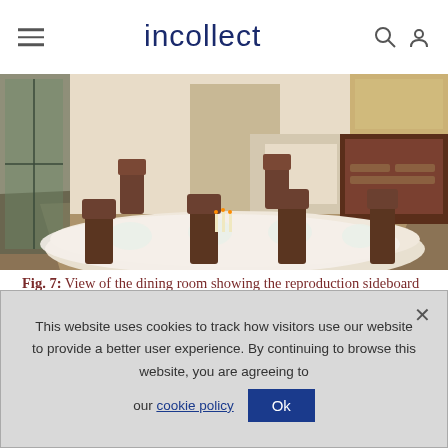incollect
[Figure (photo): Dining room interior showing a formally set table with white tablecloth and china, reproduction sideboard in an alcove at the back right, chairs, and a revolving serving door at the end of the alcove.]
Fig. 7: View of the dining room showing the reproduction sideboard standing in the alcove. The revolving serving door is at the end of alcove, to the left of the sideboard. Photograph by Philip Beaurline. A newly acquired sideboard provides insight into the function of this narrow space. It suggests that the alcove served not only to set off
This website uses cookies to track how visitors use our website to provide a better user experience. By continuing to browse this website, you are agreeing to our cookie policy Ok